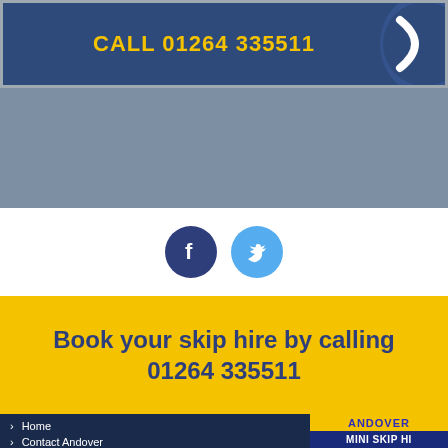[Figure (other): Dark navy banner with yellow bold text CALL 01264 335511 and a white phone arc graphic on the right]
[Figure (other): Grey background section]
[Figure (other): Social media icons: Facebook (dark blue circle) and Twitter (light blue circle)]
Book your skip hire by calling 01264 335511
Home
Contact Andover
Mini Skip Hi...
[Figure (logo): Logo box: ANDOVER on yellow background, MINI SKIP HI... on dark blue background]